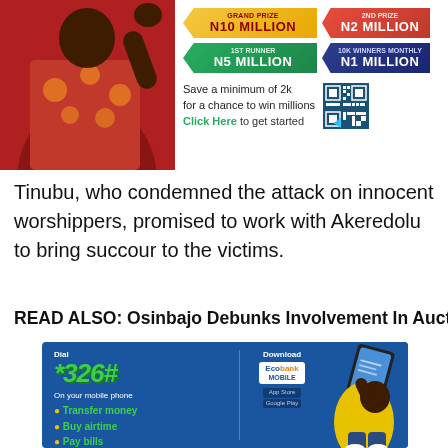[Figure (infographic): Lottery/savings promotion banner with prize badges: N10 Million Grand Prize, N2 Million, N5 Million, N1 Million. Text: Save a minimum of 2k for a chance to win millions. Click Here to get started. QR code visible. Man in African print shirt on left side.]
Tinubu, who condemned the attack on innocent worshippers, promised to work with Akeredolu to bring succour to the victims.
READ ALSO: Osinbajo Debunks Involvement In Auctocrash
[Figure (infographic): Ecobank mobile banking advertisement. Blue background. Dial *326#. Download Ecobank Mobile app. On your mobile phone: Transfer money, Buy airtime, Pay bills. Man in yellow shirt holding smartphone on right side.]